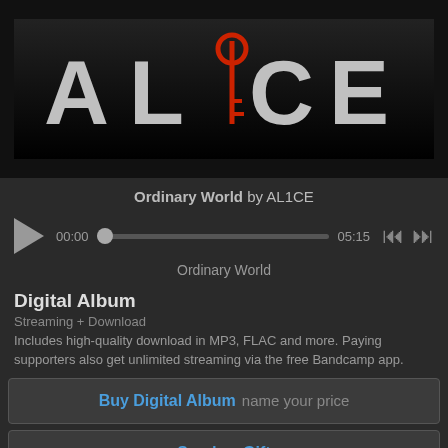[Figure (illustration): Album art for AL1CE 'Ordinary World' — black background with stylized text 'AL1CE' where the 'I' is replaced by a red key graphic, letters in light gray]
Ordinary World by AL1CE
[Figure (other): Audio player controls: play button, time 00:00, seek bar with thumb at start, end time 05:15, previous and next track buttons]
Ordinary World
Digital Album
Streaming + Download
Includes high-quality download in MP3, FLAC and more. Paying supporters also get unlimited streaming via the free Bandcamp app.
Buy Digital Album  name your price
Send as Gift